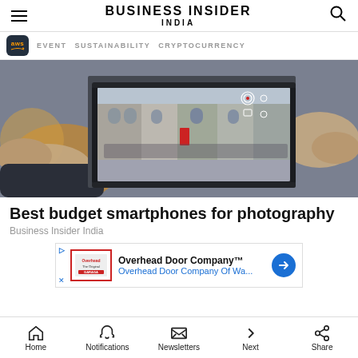BUSINESS INSIDER INDIA
[Figure (other): Navigation bar with AWS badge, EVENT, SUSTAINABILITY, CRYPTOCURRENCY links]
[Figure (photo): Person holding a smartphone horizontally, taking a photo of a street scene with shops]
Best budget smartphones for photography
Business Insider India
[Figure (other): Advertisement: Overhead Door Company - Overhead Door Company Of Wa...]
Home  Notifications  Newsletters  Next  Share